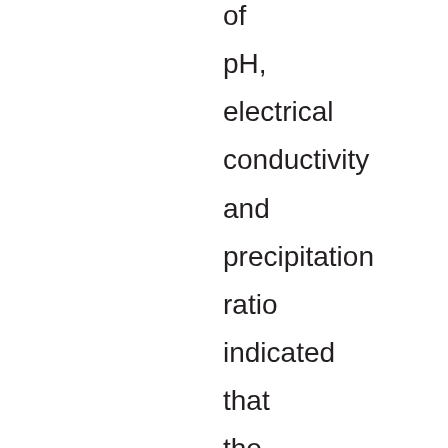of pH, electrical conductivity and precipitation ratio indicated that the optimum equimolar concentration of urea and calcium chloride (leading to the largest